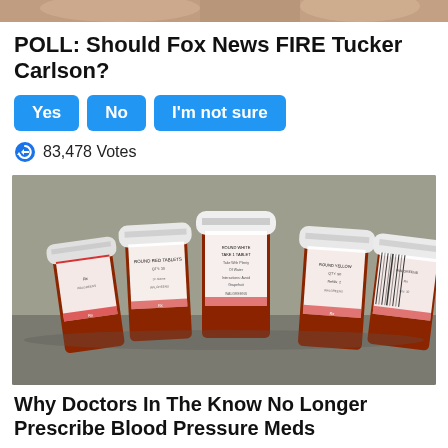[Figure (photo): Partial cropped image at top of page, appears to be people]
POLL: Should Fox News FIRE Tucker Carlson?
Yes | No | I'm not sure
83,478 Votes
[Figure (photo): Photo of multiple amber prescription pill bottles with white caps and Walgreens labels, arranged on a counter]
Why Doctors In The Know No Longer Prescribe Blood Pressure Meds
116,872